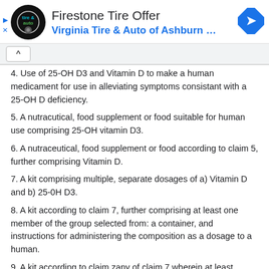[Figure (logo): Firestone Tire Offer advertisement banner with Virginia Tire & Auto logo and navigation icon]
4. Use of 25-OH D3 and Vitamin D to make a human medicament for use in alleviating symptoms consistant with a 25-OH D deficiency.
5. A nutracutical, food supplement or food suitable for human use comprising 25-OH vitamin D3.
6. A nutraceutical, food supplement or food according to claim 5, further comprising Vitamin D.
7. A kit comprising multiple, separate dosages of a) Vitamin D and b) 25-0H D3.
8. A kit according to claim 7, further comprising at least one member of the group selected from: a container, and instructions for administering the composition as a dosage to a human.
9. A kit according to claim zany of claim 7 wherein at least seven multiple